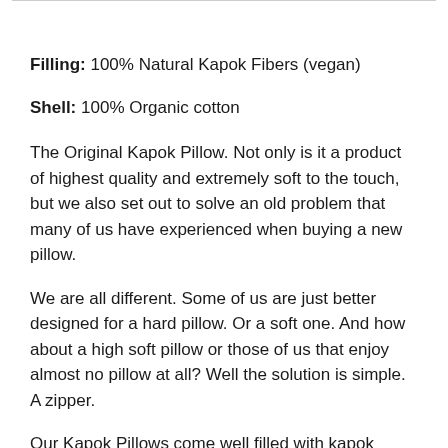Filling: 100% Natural Kapok Fibers (vegan)
Shell: 100% Organic cotton
The Original Kapok Pillow. Not only is it a product of highest quality and extremely soft to the touch, but we also set out to solve an old problem that many of us have experienced when buying a new pillow.
We are all different. Some of us are just better designed for a hard pillow. Or a soft one. And how about a high soft pillow or those of us that enjoy almost no pillow at all? Well the solution is simple. A zipper.
Our Kapok Pillows come well filled with kapok fibers. Is it too high or hard for you? No problem. The zipper on the side of the pillow allows you to adjust the amount of kapok fibers so you have full control of your own pillow.
The kapok filling consists of 80% air, which has a both isolating